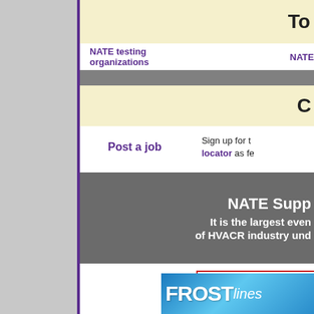To
NATE testing organizations
NATE
C
Post a job
Sign up for the locator as fe
NATE Supp
It is the largest even
of HVACR industry und
[Figure (logo): the NEWS - Air Conditioning Heating Refrigeration logo with red border]
[Figure (logo): FROSTlines logo in blue gradient]
[Figure (other): Teal box with white text 'Li']